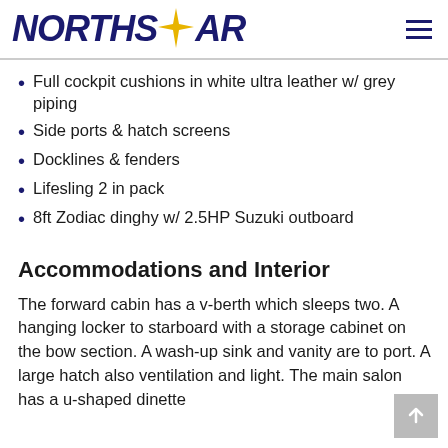NORTHSTAR
Full cockpit cushions in white ultra leather w/ grey piping
Side ports & hatch screens
Docklines & fenders
Lifesling 2 in pack
8ft Zodiac dinghy w/ 2.5HP Suzuki outboard
Accommodations and Interior
The forward cabin has a v-berth which sleeps two. A hanging locker to starboard with a storage cabinet on the bow section. A wash-up sink and vanity are to port. A large hatch also ventilation and light. The main salon has a u-shaped dinette